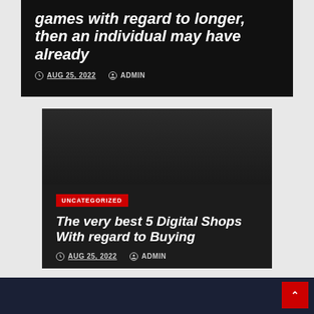games with regard to longer, then an individual may have already
AUG 25, 2022   ADMIN
UNCATEGORIZED
The very best 5 Digital Shops With regard to Buying
AUG 25, 2022   ADMIN